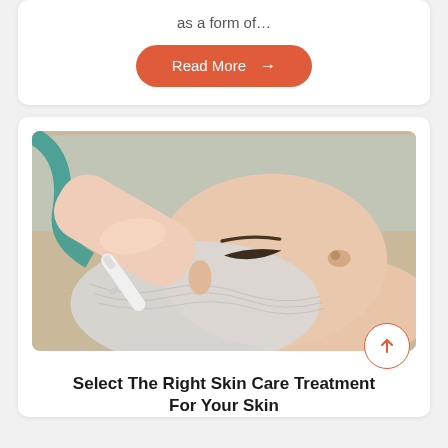as a form of…
Read More →
[Figure (photo): A woman lying down receiving a facial skin care treatment. A practitioner in a white coat is holding a white cosmetic device near the woman's forehead. The woman wears a white lace hair covering and has her eyes closed.]
Select The Right Skin Care Treatment For Your Skin